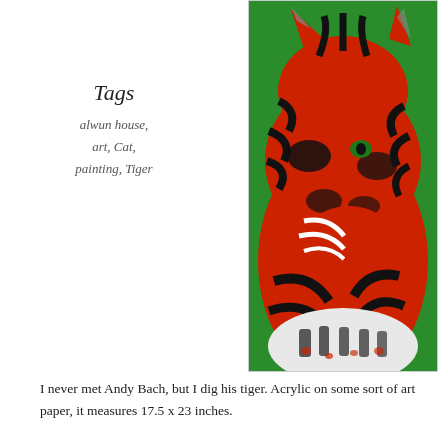Tags
alwun house, art, Cat, painting, Tiger
[Figure (photo): Acrylic painting of a red tiger head with black stripes and a green eye, on a green background, by Andy Bach]
I never met Andy Bach, but I dig his tiger. Acrylic on some sort of art paper, it measures 17.5 x 23 inches. And on and the tiger is filling up...